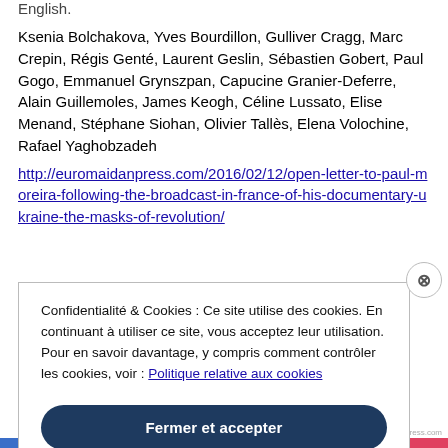English.
Ksenia Bolchakova, Yves Bourdillon, Gulliver Cragg, Marc Crepin, Régis Genté, Laurent Geslin, Sébastien Gobert, Paul Gogo, Emmanuel Grynszpan, Capucine Granier-Deferre, Alain Guillemoles, James Keogh, Céline Lussato, Elise Menand, Stéphane Siohan, Olivier Tallès, Elena Volochine, Rafael Yaghobzadeh
http://euromaidanpress.com/2016/02/12/open-letter-to-paul-moreira-following-the-broadcast-in-france-of-his-documentary-ukraine-the-masks-of-revolution/
Confidentialité & Cookies : Ce site utilise des cookies. En continuant à utiliser ce site, vous acceptez leur utilisation. Pour en savoir davantage, y compris comment contrôler les cookies, voir : Politique relative aux cookies
Fermer et accepter